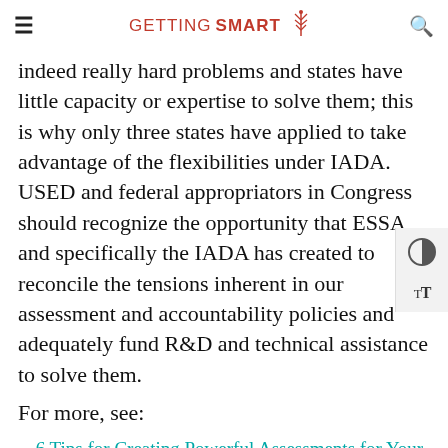≡  GETTING SMART 🌿  🔍
indeed really hard problems and states have little capacity or expertise to solve them; this is why only three states have applied to take advantage of the flexibilities under IADA. USED and federal appropriators in Congress should recognize the opportunity that ESSA and specifically the IADA has created to reconcile the tensions inherent in our assessment and accountability policies and adequately fund R&D and technical assistance to solve them.
For more, see:
6 Tips for Creating Powerful Assessments for Your Students
Performance Assessment in Different…